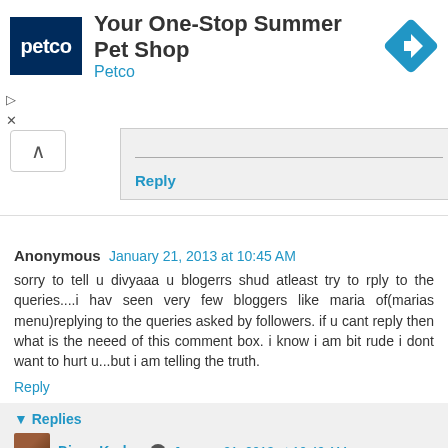[Figure (screenshot): Petco advertisement banner with navy blue Petco logo, headline 'Your One-Stop Summer Pet Shop', subheading 'Petco', and blue diamond navigation icon on the right]
Reply
Anonymous  January 21, 2013 at 10:45 AM
sorry to tell u divyaaa u blogerrs shud atleast try to rply to the queries....i hav seen very few bloggers like maria of(marias menu)replying to the queries asked by followers. if u cant reply then what is the neeed of this comment box. i know i am bit rude i dont want to hurt u...but i am telling the truth.
Reply
▾ Replies
Divya Kudua  January 21, 2013 at 10:49 AM